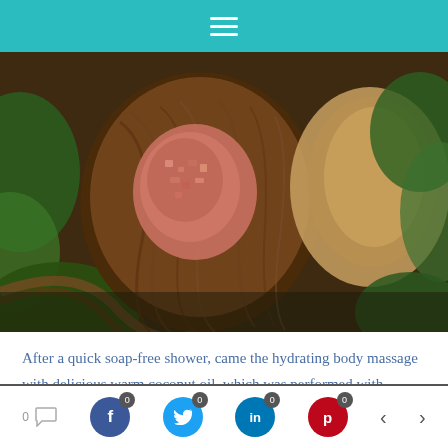≡ (hamburger menu)
[Figure (photo): Close-up photograph of a halved coconut shell with pink salt crystals or similar pinkish granular material inside, surrounded by fibrous coconut husk, green leaves, and tropical vegetation in natural outdoor light.]
After a quick soap-free shower, came the hydrating body massage with delicious warm coconut oil, which was performed with medium pressure, just as I requested.
0 [comment icon] | f 0 | [twitter] 0 | in 0 | p 0 | < | >